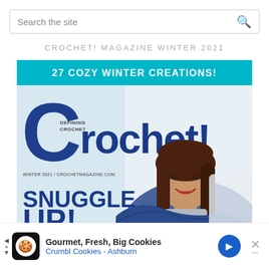Search the site
CROCHET! MAGAZINE WINTER 2021
[Figure (photo): Cover of Crochet! Magazine Winter 2021 issue featuring a woman wearing a blue crochet shawl/wrap, smiling, with text '27 Cozy Winter Creations!', 'Snuggle Up!', 'Gorgeous Garments, Accents & More', and the Crochet! logo. Teal header bar. Blue large C logo lettering.]
[Figure (other): Advertisement banner: 'Gourmet, Fresh, Big Cookies - Crumbl Cookies - Ashburn' with cookie logo icon, blue navigation arrow, and close button]